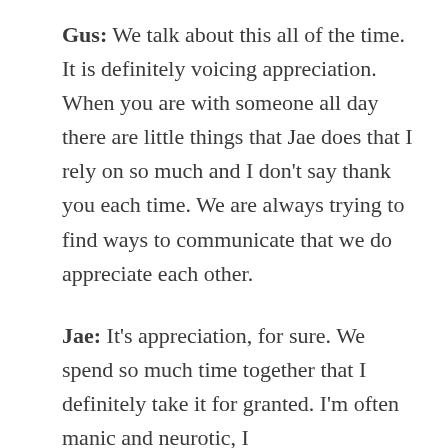Gus: We talk about this all of the time. It is definitely voicing appreciation. When you are with someone all day there are little things that Jae does that I rely on so much and I don't say thank you each time. We are always trying to find ways to communicate that we do appreciate each other.
Jae: It's appreciation, for sure. We spend so much time together that I definitely take it for granted. I'm often manic and neurotic, I